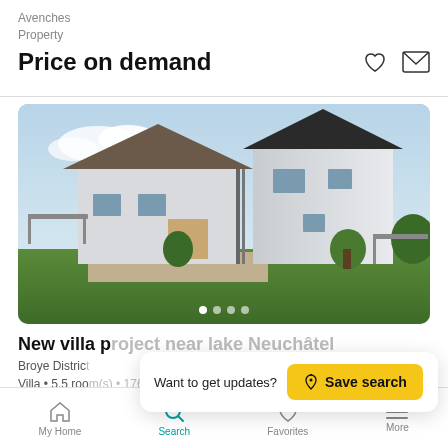Avenches
Property
Price on demand
[Figure (photo): Exterior photo of a modern white villa with gabled roof, patio, garden, and another property in background. Carousel with 4 dots shown at bottom of image.]
New villa project near lake Neuchâtel
Broye District
Villa • 5.5 room(s) • 176 m
Want to get updates?  Save search
My Home  Search  Favorites  More